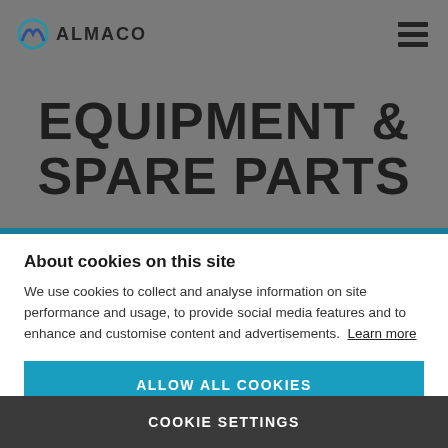[Figure (logo): ALMACO company logo with circular icon on left and bold text ALMACO on right]
EQUIPMENT & SPARE PARTS
About cookies on this site
We use cookies to collect and analyse information on site performance and usage, to provide social media features and to enhance and customise content and advertisements. Learn more
ALLOW ALL COOKIES
COOKIE SETTINGS